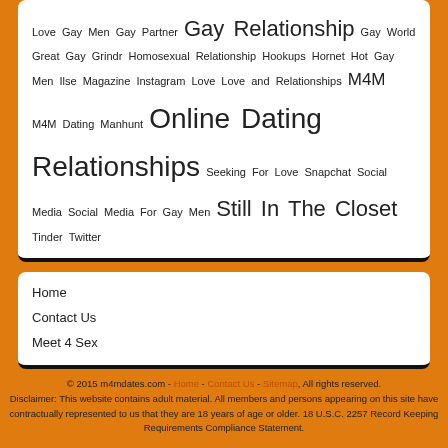Love Gay Men Gay Partner Gay Relationship Gay World Great Gay Grindr Homosexual Relationship Hookups Hornet Hot Gay Men Ilse Magazine Instagram Love Love and Relationships M4M M4M Dating Manhunt Online Dating Relationships Seeking For Love Snapchat Social Media Social Media For Gay Men Still In The Closet Tinder Twitter
Home
Contact Us
Meet 4 Sex
© 2015 m4mdates.com - Home - Contact Us - Sitemap. All rights reserved. Disclaimer: This website contains adult material. All members and persons appearing on this site have contractually represented to us that they are 18 years of age or older. 18 U.S.C. 2257 Record Keeping Requirements Compliance Statement.